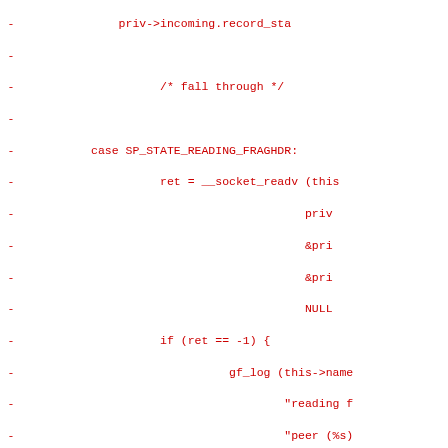Diff/patch view of source code showing deleted lines (marked with -) in red, including C code with case SP_STATE_READING_FRAGHDR, socket readv calls, logging, goto statements, and conditional checks.